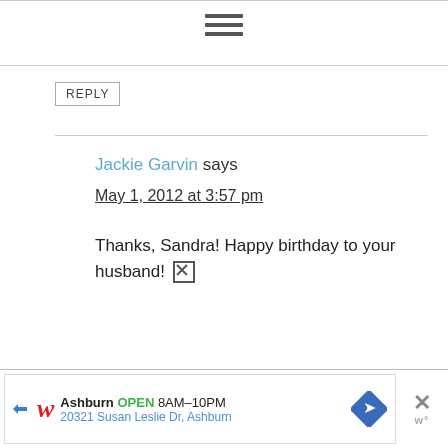[Figure (other): Hamburger menu icon with three horizontal lines]
REPLY
Jackie Garvin says
May 1, 2012 at 3:57 pm
Thanks, Sandra! Happy birthday to your husband! 🖼
[Figure (other): Walgreens advertisement banner: Ashburn OPEN 8AM-10PM, 20321 Susan Leslie Dr, Ashburn]